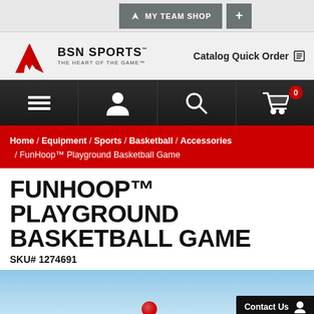MY TEAM SHOP | +
[Figure (logo): BSN Sports logo — red angular checkmark above 'BSN SPORTS' wordmark and tagline 'THE HEART OF THE GAME']
Catalog Quick Order
[Figure (infographic): Navigation icon bar with hamburger menu, user/account icon, search magnifying glass, and shopping cart with badge showing 0]
Home / Equipment / Sports / Basketball / Accessories / FunHoop™ Playground Basketball Game
FUNHOOP™ PLAYGROUND BASKETBALL GAME
SKU# 1274691
[Figure (photo): Partial product photo showing a basketball in mid-air against a blue sky background]
Contact Us